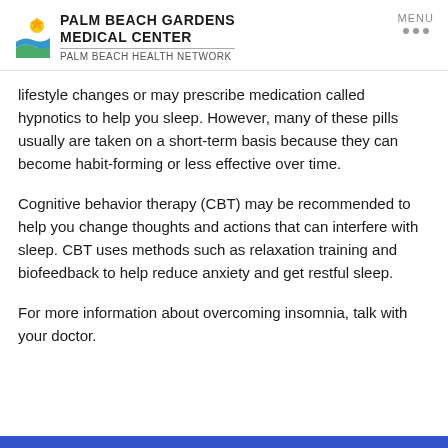PALM BEACH GARDENS MEDICAL CENTER — PALM BEACH HEALTH NETWORK | MENU
lifestyle changes or may prescribe medication called hypnotics to help you sleep. However, many of these pills usually are taken on a short-term basis because they can become habit-forming or less effective over time.
Cognitive behavior therapy (CBT) may be recommended to help you change thoughts and actions that can interfere with sleep. CBT uses methods such as relaxation training and biofeedback to help reduce anxiety and get restful sleep.
For more information about overcoming insomnia, talk with your doctor.